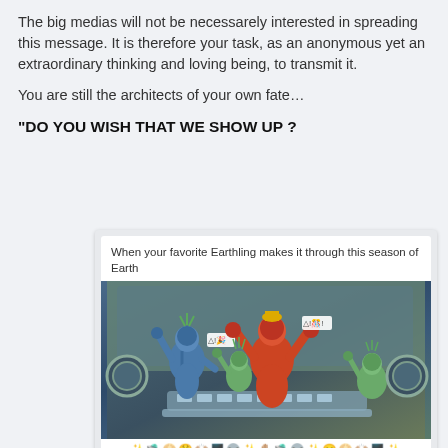The big medias will not be necessarely interested in spreading this message. It is therefore your task, as an anonymous yet an extraordinary thinking and loving being, to transmit it.
You are still the architects of your own fate…
“DO YOU WISH THAT WE SHOW UP ?
[Figure (illustration): Social media post card showing cartoon alien figures celebrating inside a spaceship. Caption reads: 'When your favorite Earthling makes it through this season of Earth'. Below the image is a row of emojis.]